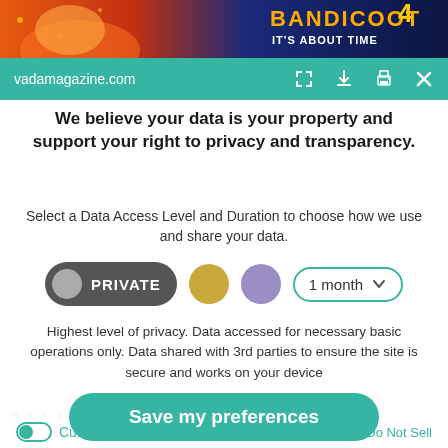[Figure (screenshot): Crash Bandicoot 4 game banner at top of page]
vadamagazine.com
We believe your data is your property and support your right to privacy and transparency.
Select a Data Access Level and Duration to choose how we use and share your data.
[Figure (infographic): Privacy level selector with PRIVATE button (dark rounded), gold circle, purple circle, and 1 month dropdown]
Highest level of privacy. Data accessed for necessary basic operations only. Data shared with 3rd parties to ensure the site is secure and works on your device
[Figure (infographic): Save my preferences button - teal rounded rectangle]
Customize  |  Privacy policy  |  Do Not Sell